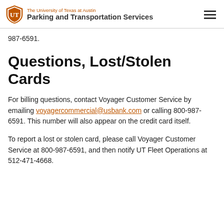The University of Texas at Austin Parking and Transportation Services
987-6591.
Questions, Lost/Stolen Cards
For billing questions, contact Voyager Customer Service by emailing voyagercommercial@usbank.com or calling 800-987-6591. This number will also appear on the credit card itself.
To report a lost or stolen card, please call Voyager Customer Service at 800-987-6591, and then notify UT Fleet Operations at 512-471-4668.